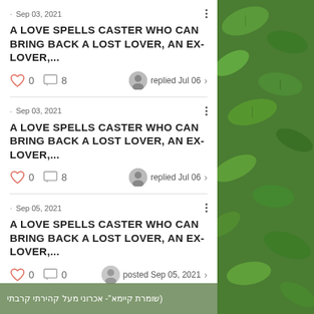· Sep 03, 2021
A LOVE SPELLS CASTER WHO CAN BRING BACK A LOST LOVER, AN EX- LOVER,...
0  8  replied Jul 06
· Sep 03, 2021
A LOVE SPELLS CASTER WHO CAN BRING BACK A LOST LOVER, AN EX- LOVER,...
0  8  replied Jul 06
· Sep 05, 2021
A LOVE SPELLS CASTER WHO CAN BRING BACK A LOST LOVER, AN EX- LOVER,...
0  0  posted Sep 05, 2021
[Figure (photo): Green plant leaves background on the right panel and banner at bottom]